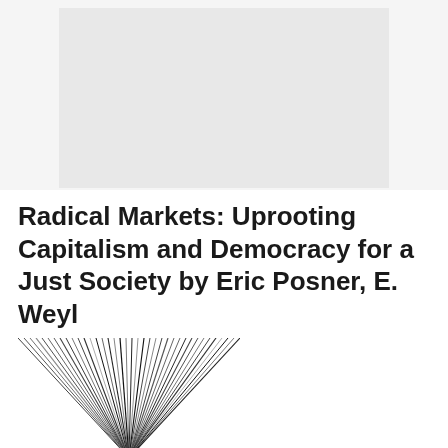[Figure (illustration): Top placeholder image area — light gray rectangle]
Radical Markets: Uprooting Capitalism and Democracy for a Just Society by Eric Posner, E. Weyl
[Figure (photo): Book cover image showing a fan of black and white stripes radiating outward, resembling pages of a book viewed from above]